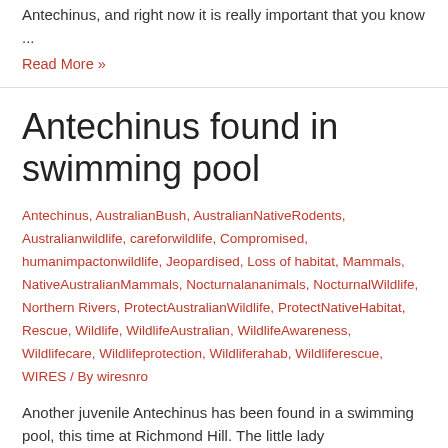Antechinus, and right now it is really important that you know ...
Read More »
Antechinus found in swimming pool
Antechinus, AustralianBush, AustralianNativeRodents, Australianwildlife, careforwildlife, Compromised, humanimpactonwildlife, Jeopardised, Loss of habitat, Mammals, NativeAustralianMammals, Nocturnalananimals, NocturnalWildlife, Northern Rivers, ProtectAustralianWildlife, ProtectNativeHabitat, Rescue, Wildlife, WildlifeAustralian, WildlifeAwareness, Wildlifecare, Wildlifeprotection, Wildliferahab, Wildliferescue, WIRES / By wiresnro
Another juvenile Antechinus has been found in a swimming pool, this time at Richmond Hill. The little lady